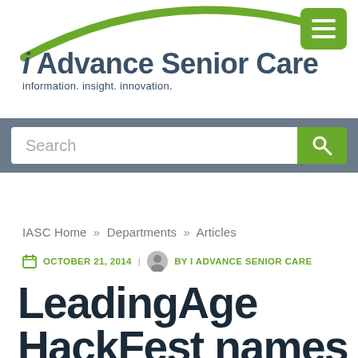i Advance Senior Care — information. insight. innovation.
Search
IASC Home » Departments » Articles
OCTOBER 21, 2014 | BY I ADVANCE SENIOR CARE
LeadingAge HackFest names winners